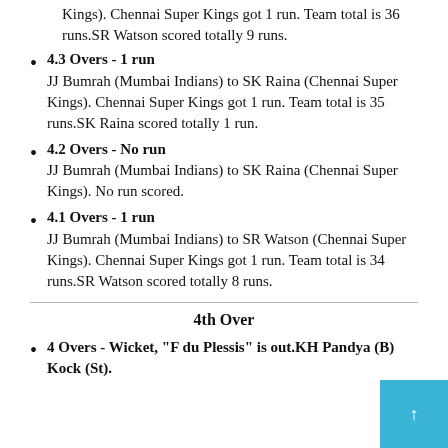4.3 Overs - 1 run
JJ Bumrah (Mumbai Indians) to SK Raina (Chennai Super Kings). Chennai Super Kings got 1 run. Team total is 35 runs.SK Raina scored totally 1 run.
4.2 Overs - No run
JJ Bumrah (Mumbai Indians) to SK Raina (Chennai Super Kings). No run scored.
4.1 Overs - 1 run
JJ Bumrah (Mumbai Indians) to SR Watson (Chennai Super Kings). Chennai Super Kings got 1 run. Team total is 34 runs.SR Watson scored totally 8 runs.
4th Over
4 Overs - Wicket, "F du Plessis" is out.KH Pandya (B) Kock (St).